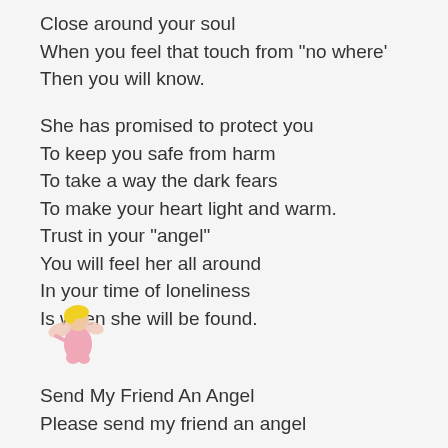Close around your soul
When you feel that touch from "no where'
Then you will know.
She has promised to protect you
To keep you safe from harm
To take a way the dark fears
To make your heart light and warm.
Trust in your "angel"
You will feel her all around
In your time of loneliness
Is when she will be found.
[Figure (illustration): Small cartoon angel figure with yellow hair, pink body and wings, kneeling]
Send My Friend An Angel
Please send my friend an angel
Send her your friend a ...